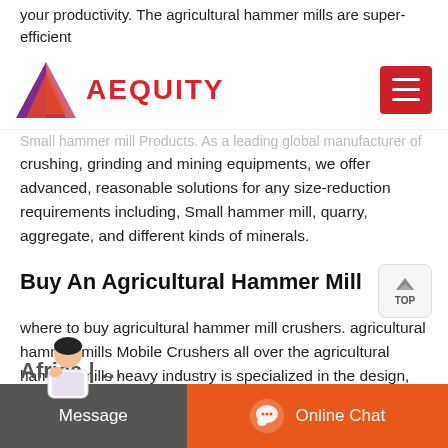your productivity. The agricultural hammer mills are super-efficient
AEQUITY
Small Hammer Mill Products. As a leading global manufacturer of crushing, grinding and mining equipments, we offer advanced, reasonable solutions for any size-reduction requirements including, Small hammer mill, quarry, aggregate, and different kinds of minerals.
Buy An Agricultural Hammer Mill
where to buy agricultural hammer mill crushers. agricultural hammer mills Mobile Crushers all over the agricultural hammer mills heavy industry is specialized in the design, manufacture and supply of crushing equipment used in mining industry The product range of our company comprises mobile crushing plant, jaw crusher, cone crusher, impact crusher, milling equipment, ball mill, vibrating
Africa | ...